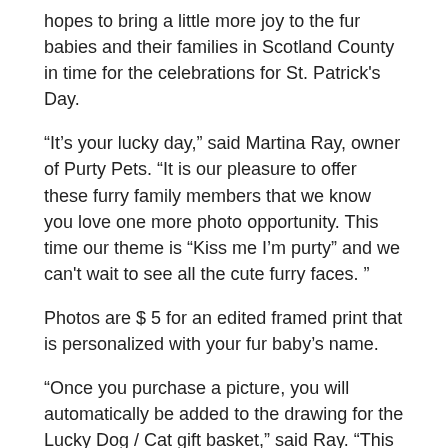hopes to bring a little more joy to the fur babies and their families in Scotland County in time for the celebrations for St. Patrick's Day.
“It’s your lucky day,” said Martina Ray, owner of Purty Pets. “It is our pleasure to offer these furry family members that we know you love one more photo opportunity. This time our theme is “Kiss me I’m purty” and we can’t wait to see all the cute furry faces. ”
Photos are $ 5 for an edited framed print that is personalized with your fur baby’s name.
“Once you purchase a picture, you will automatically be added to the drawing for the Lucky Dog / Cat gift basket,” said Ray. “This basket is filled with goodies, toys, a collar, leash, and a gift certificate for a free nail cut.”